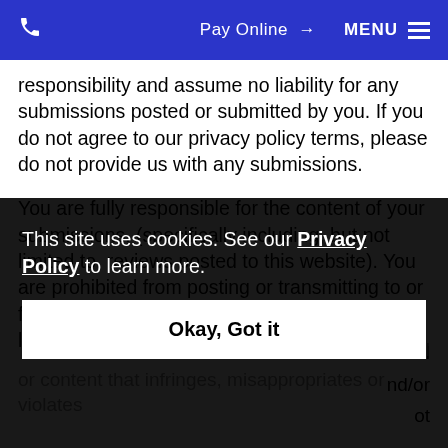Pay Online  MENU
responsibility and assume no liability for any submissions posted or submitted by you. If you do not agree to our privacy policy terms, please do not provide us with any submissions.
You are fully responsible for the content of your submissions, (specifically including, but not limited to, reviews posted to this website). You are prohibited from posting or transmitting to or from this website: (i) any unlawful, threatening, libelous...
...aterial nd/or ot aterial or content that infringes, misappropriates or violates...
This site uses cookies. See our Privacy Policy to learn more.
Okay, Got it